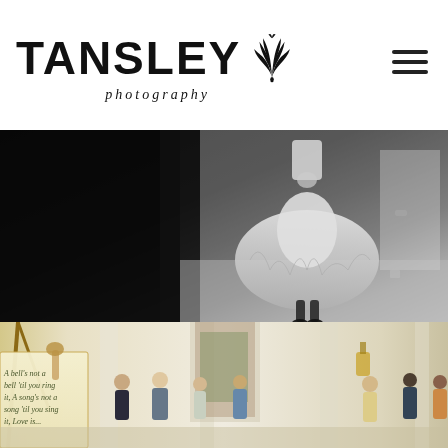TANSLEY photography
[Figure (photo): Black and white photograph of a bride in a full-skirted 1950s style wedding dress standing in a room, photographed from mid-body down, holding something in her hands. The left side of the image is very dark with architectural elements.]
[Figure (photo): Color photograph of a wedding reception or cocktail hour inside an elegant classical building with white columns and ornate architectural details. On the left is a sign on an easel with handwritten text reading 'A bell's not a bell til you ring it, A song's not a song til you sing it, Love is...'. Groups of guests mingle in the background.]